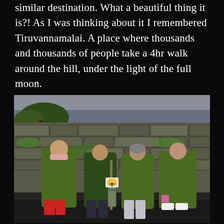similar destination. What a beautiful thing it is?! As I was thinking about it I remembered Tiruvannamalai. A place where thousands and thousands of people take a 4hr walk around the hill, under the light of the full moon.
[Figure (photo): Four people wearing green rain ponchos standing in front of a moss-covered stone wall on the Camino de Santiago. They are smiling and posing together, with a Camino shell waymarker visible in the center. One person has red rain boots, another holds a walking stick.]